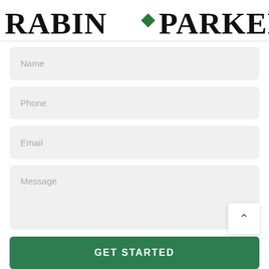[Figure (logo): Rabin Parker G logo with green diamond decorations and stylized G icon on white background]
Name
Phone
Email
Message
GET STARTED